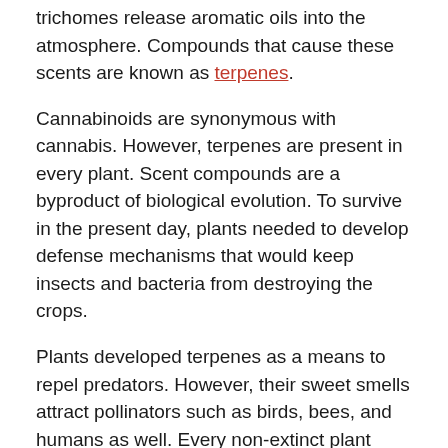trichomes release aromatic oils into the atmosphere. Compounds that cause these scents are known as terpenes.
Cannabinoids are synonymous with cannabis. However, terpenes are present in every plant. Scent compounds are a byproduct of biological evolution. To survive in the present day, plants needed to develop defense mechanisms that would keep insects and bacteria from destroying the crops.
Plants developed terpenes as a means to repel predators. However, their sweet smells attract pollinators such as birds, bees, and humans as well. Every non-extinct plant species today has perfected their scent that would allow the genus to prosper. Thanks to these terpenes, human beings can now prosper as well.
The Entourage Effect and Terpenes